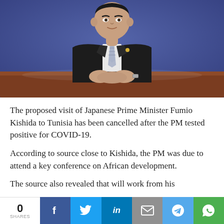[Figure (photo): Japanese Prime Minister Fumio Kishida sitting at a desk with hands clasped, wearing a dark suit and striped tie, against a blue background]
The proposed visit of Japanese Prime Minister Fumio Kishida to Tunisia has been cancelled after the PM tested positive for COVID-19.
According to source close to Kishida, the PM was due to attend a key conference on African development.
The source also revealed that will work from his
[Figure (infographic): Social share bar with 0 SHARES count and buttons for Facebook, Twitter, LinkedIn, Email, Telegram, WhatsApp]